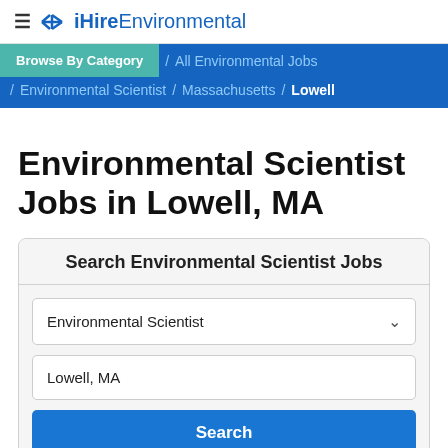≡ ✕ iHireEnvironmental
Browse By Category / All Environmental Jobs / Environmental Scientist / Massachusetts / Lowell
Environmental Scientist Jobs in Lowell, MA
Search Environmental Scientist Jobs
Environmental Scientist
Lowell, MA
Search